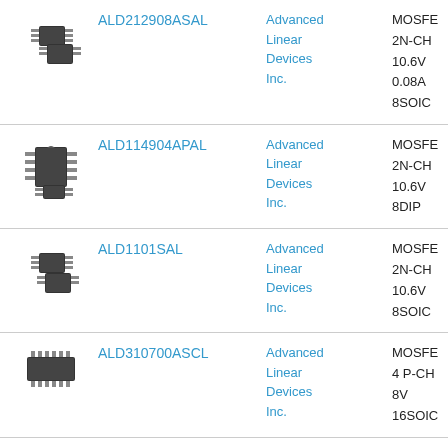| Image | Part Number | Manufacturer | Specs |
| --- | --- | --- | --- |
| [chip image] | ALD212908ASAL | Advanced Linear Devices Inc. | MOSFE
2N-CH
10.6V
0.08A
8SOIC |
| [chip image] | ALD114904APAL | Advanced Linear Devices Inc. | MOSFE
2N-CH
10.6V
8DIP |
| [chip image] | ALD1101SAL | Advanced Linear Devices Inc. | MOSFE
2N-CH
10.6V
8SOIC |
| [chip image] | ALD310700ASCL | Advanced Linear Devices Inc. | MOSFE
4 P-CH
8V
16SOIC |